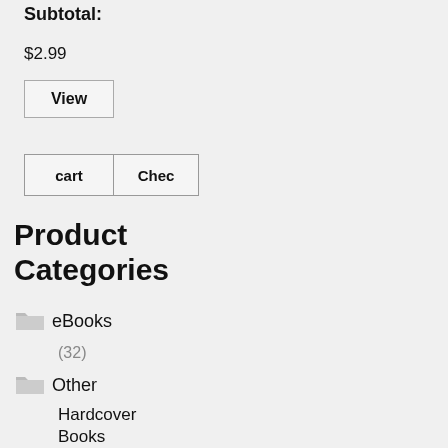Subtotal:
$2.99
View
cart
Chec
Product Categories
eBooks (32)
Other Hardcover Books (0)
Paperback Books (16)